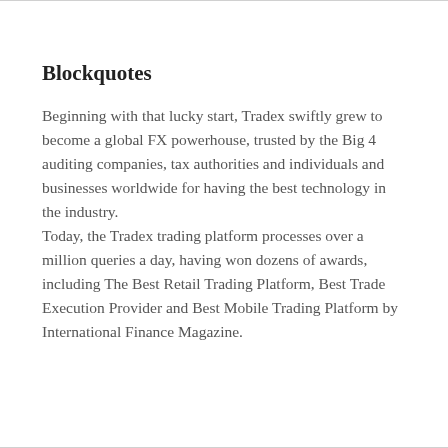Blockquotes
Beginning with that lucky start, Tradex swiftly grew to become a global FX powerhouse, trusted by the Big 4 auditing companies, tax authorities and individuals and businesses worldwide for having the best technology in the industry.
Today, the Tradex trading platform processes over a million queries a day, having won dozens of awards, including The Best Retail Trading Platform, Best Trade Execution Provider and Best Mobile Trading Platform by International Finance Magazine.